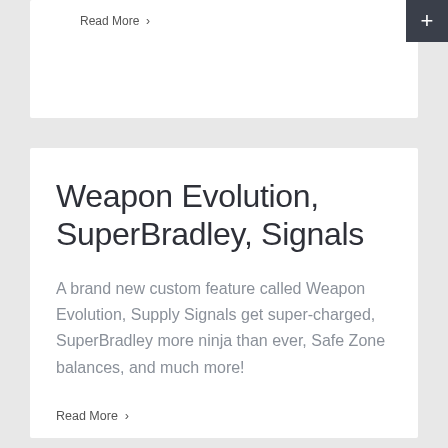Read More >
Weapon Evolution, SuperBradley, Signals
A brand new custom feature called Weapon Evolution, Supply Signals get super-charged, SuperBradley more ninja than ever, Safe Zone balances, and much more!
Read More >